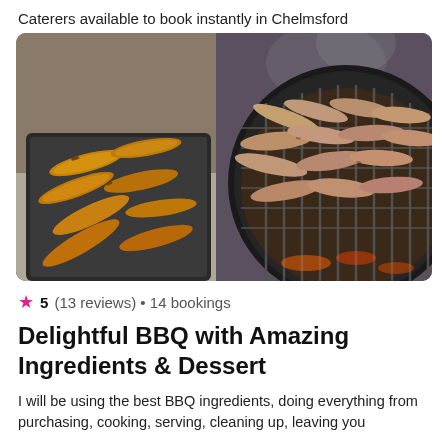Caterers available to book instantly in Chelmsford
[Figure (photo): Two trays of grilled sausages: one on a flat metal baking tray on the left and one on a round BBQ grill on the right, with smoke rising.]
★ 5 (13 reviews) • 14 bookings
Delightful BBQ with Amazing Ingredients & Dessert
I will be using the best BBQ ingredients, doing everything from purchasing, cooking, serving, cleaning up, leaving you